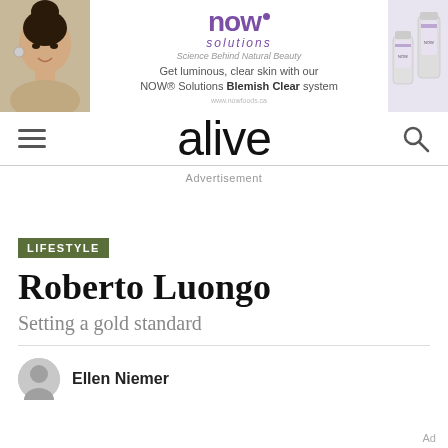[Figure (photo): NOW Solutions advertisement banner featuring a woman's face on the left, NOW Solutions logo and text in the center reading 'Get luminous, clear skin with our NOW Solutions Blemish Clear system', and product bottles on the right.]
alive
Advertisement
LIFESTYLE
Roberto Luongo
Setting a gold standard
Ellen Niemer
Ad